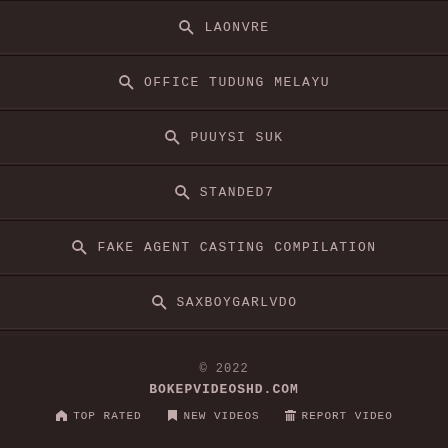LAONVRE
OFFICE TUDUNG MELAYU
PUUYSI SUK
STANDED7
FAKE AGENT CASTING COMPILATION
SAXBOYGARLVDO
HIGHLAUGH
© 2022 BOKEPVIDEOSHD.COM TOP RATED NEW VIDEOS REPORT VIDEO